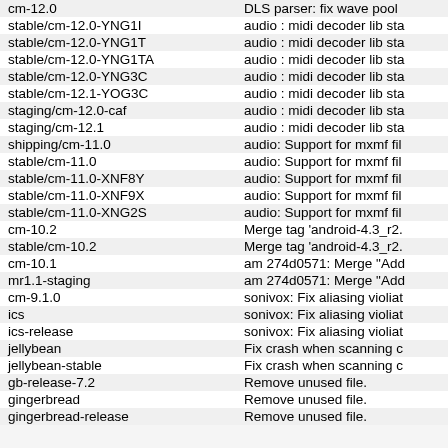| branch | commit message |
| --- | --- |
| cm-12.0 | DLS parser: fix wave pool |
| stable/cm-12.0-YNG1I | audio : midi decoder lib sta |
| stable/cm-12.0-YNG1T | audio : midi decoder lib sta |
| stable/cm-12.0-YNG1TA | audio : midi decoder lib sta |
| stable/cm-12.0-YNG3C | audio : midi decoder lib sta |
| stable/cm-12.1-YOG3C | audio : midi decoder lib sta |
| staging/cm-12.0-caf | audio : midi decoder lib sta |
| staging/cm-12.1 | audio : midi decoder lib sta |
| shipping/cm-11.0 | audio: Support for mxmf fil |
| stable/cm-11.0 | audio: Support for mxmf fil |
| stable/cm-11.0-XNF8Y | audio: Support for mxmf fil |
| stable/cm-11.0-XNF9X | audio: Support for mxmf fil |
| stable/cm-11.0-XNG2S | audio: Support for mxmf fil |
| cm-10.2 | Merge tag 'android-4.3_r2. |
| stable/cm-10.2 | Merge tag 'android-4.3_r2. |
| cm-10.1 | am 274d0571: Merge "Add |
| mr1.1-staging | am 274d0571: Merge "Add |
| cm-9.1.0 | sonivox: Fix aliasing violiat |
| ics | sonivox: Fix aliasing violiat |
| ics-release | sonivox: Fix aliasing violiat |
| jellybean | Fix crash when scanning c |
| jellybean-stable | Fix crash when scanning c |
| gb-release-7.2 | Remove unused file. |
| gingerbread | Remove unused file. |
| gingerbread-release | Remove unused file. |